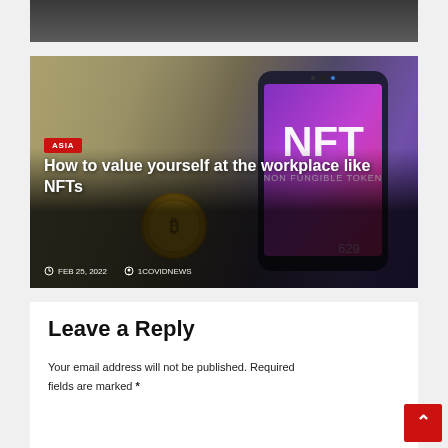[Figure (photo): Top portion of a photo partially visible at the top of the page, appears dark/gray]
[Figure (photo): NFT article thumbnail: smartphone displaying NFT (Non Fungible Token) on purple screen, surrounded by US dollar bills and a gold bitcoin coin]
ASIA
How to value yourself at the workplace like NFTs
FEB 25, 2022   1COVIDNEWS
Leave a Reply
Your email address will not be published. Required fields are marked *